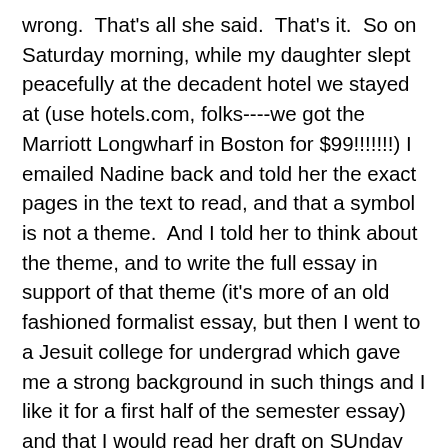wrong.  That's all she said.  That's it.  So on Saturday morning, while my daughter slept peacefully at the decadent hotel we stayed at (use hotels.com, folks----we got the Marriott Longwharf in Boston for $99!!!!!!!) I emailed Nadine back and told her the exact pages in the text to read, and that a symbol is not a theme.  And I told her to think about the theme, and to write the full essay in support of that theme (it's more of an old fashioned formalist essay, but then I went to a Jesuit college for undergrad which gave me a strong background in such things and I like it for a first half of the semester essay) and that I would read her draft on SUnday morning---to send it to me by 9am.  At nine am on Sunday, I log on.  There is an e-mail from Nadine, full of the kind of manipulation and blame game that I have come to expect.  She was waiting, desperately, from 11:59 Monday night on, to hear from me.  Now she had to work, and also she had come down with a headache.  She was not going to be able to get me a draft by Sunday morning, and she would not be able to hand in her essay by Monday morning, and the reason was, that I waited too long to get back to her that she had sent me nothing the first time.  If I had let her know earlier, and had been able to send her feedback FRIDAY